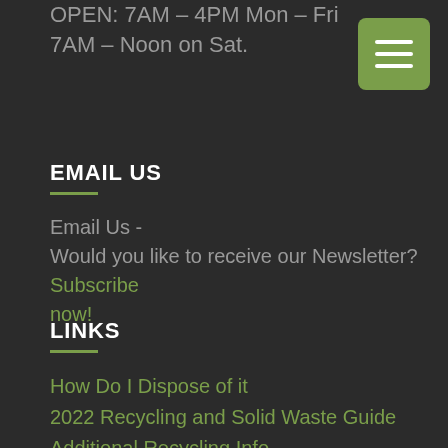OPEN: 7AM – 4PM Mon – Fri
7AM – Noon on Sat.
EMAIL US
Email Us -
Would you like to receive our Newsletter? Subscribe now!
LINKS
How Do I Dispose of it
2022 Recycling and Solid Waste Guide
Additional Recycling Info
VSQG Information
E-Waste